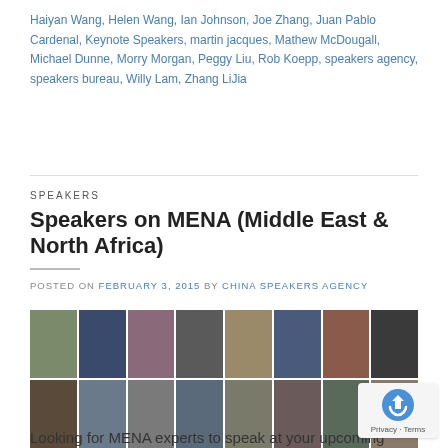Haiyan Wang, Helen Wang, Ian Johnson, Joe Zhang, Juan Pablo Cardenal, Keynote Speakers, martin jacques, Mathew McDougall, Michael Dunne, Morry Morgan, Peggy Liu, Rob Koepp, speakers agency, speakers bureau, Willy Lam, Zhang LiJia
SPEAKERS
Speakers on MENA (Middle East & North Africa)
POSTED ON FEBRUARY 3, 2015 BY CHINA SPEAKERS AGENCY
[Figure (photo): Grid of 24 speaker portrait photos arranged in 3 rows of 8 columns]
Looking for MENA experts to speak at your upcoming